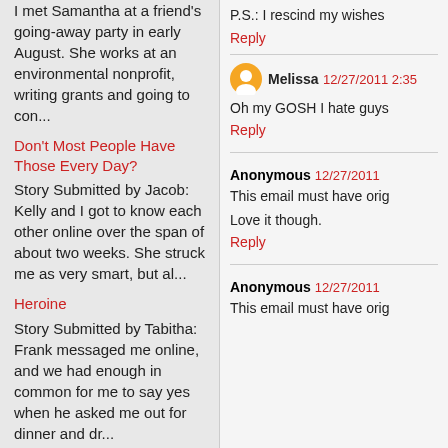I met Samantha at a friend's going-away party in early August.  She works at an environmental nonprofit, writing grants and going to con...
Don't Most People Have Those Every Day?
Story Submitted by Jacob: Kelly and I got to know each other online over the span of about two weeks.  She struck me as very smart, but al...
Heroine
Story Submitted by Tabitha: Frank messaged me online, and we had enough in common for me to say yes when he asked me out for dinner and dr...
P.S.: I rescind my wishes
Reply
Melissa  12/27/2011 2:35
Oh my GOSH I hate guys
Reply
Anonymous  12/27/2011
This email must have orig
Love it though.
Reply
Anonymous  12/27/2011
This email must have orig